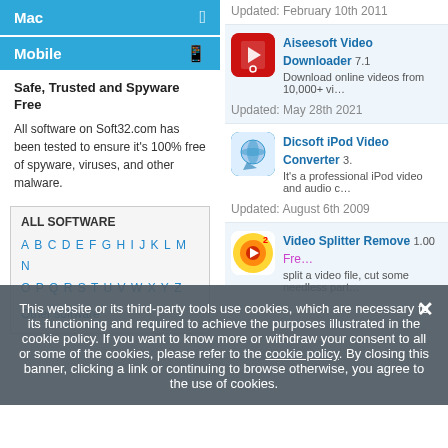Mac
Mobile
Safe, Trusted and Spyware Free
All software on Soft32.com has been tested to ensure it's 100% free of spyware, viruses, and other malware.
ALL SOFTWARE
A B C D E F G H I J K L M N O P Q R S T U V W X Y Z Other software
Updated: February 10th 2011
Aiseesoft Video Downloader 7.1
Download online videos from 10,000+ vi…
Updated: May 28th 2021
Dicsoft iPod Video Converter 3.
It's a professional iPod video and audio c…
Updated: August 6th 2009
Video Splitter Remove 1.00 Fre…
split a video file, cut some needless part…
This website or its third-party tools use cookies, which are necessary to its functioning and required to achieve the purposes illustrated in the cookie policy. If you want to know more or withdraw your consent to all or some of the cookies, please refer to the cookie policy. By closing this banner, clicking a link or continuing to browse otherwise, you agree to the use of cookies.